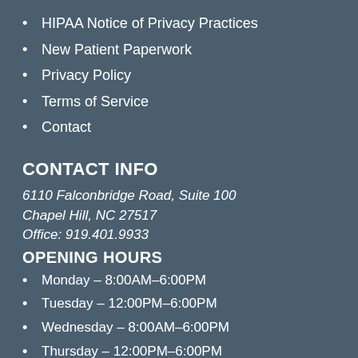HIPAA Notice of Privacy Practices
New Patient Paperwork
Privacy Policy
Terms of Service
Contact
CONTACT INFO
6110 Falconbridge Road, Suite 100
Chapel Hill, NC 27517
Office: 919.401.9933
OPENING HOURS
Monday – 8:00AM–6:00PM
Tuesday – 12:00PM–6:00PM
Wednesday – 8:00AM–6:00PM
Thursday – 12:00PM–6:00PM
Friday – 8:00AM–1:00PM
Saturday – Closed